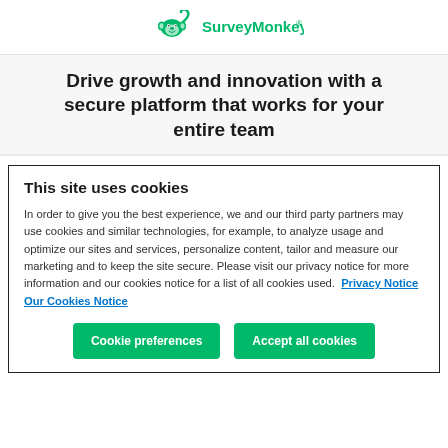SurveyMonkey
Drive growth and innovation with a secure platform that works for your entire team
This site uses cookies
In order to give you the best experience, we and our third party partners may use cookies and similar technologies, for example, to analyze usage and optimize our sites and services, personalize content, tailor and measure our marketing and to keep the site secure. Please visit our privacy notice for more information and our cookies notice for a list of all cookies used.  Privacy Notice  Our Cookies Notice
Cookie preferences
Accept all cookies